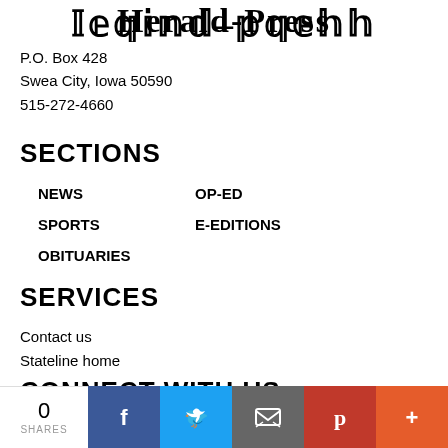[Figure (logo): Herald-Press newspaper logo in blackletter/Old English font style]
P.O. Box 428
Swea City, Iowa 50590
515-272-4660
SECTIONS
NEWS
OP-ED
SPORTS
E-EDITIONS
OBITUARIES
SERVICES
Contact us
Stateline home
CONNECT WITH US
[Figure (infographic): Social share bar with 0 SHARES count, Facebook, Twitter, Email, Pinterest, and More (+) buttons]